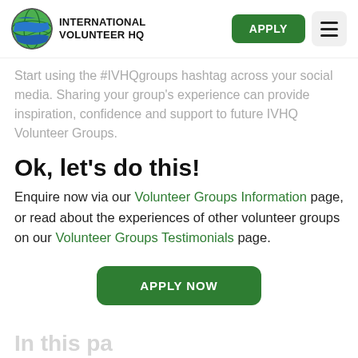INTERNATIONAL VOLUNTEER HQ | APPLY
Start using the #IVHQgroups hashtag across your social media. Sharing your group's experience can provide inspiration, confidence and support to future IVHQ Volunteer Groups.
Ok, let's do this!
Enquire now via our Volunteer Groups Information page, or read about the experiences of other volunteer groups on our Volunteer Groups Testimonials page.
APPLY NOW